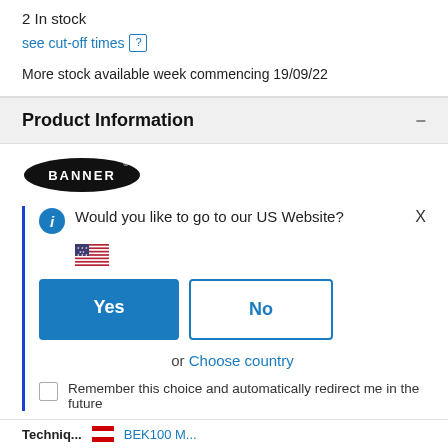2 In stock
see cut-off times ?
More stock available week commencing 19/09/22
Product Information
[Figure (logo): Banner brand logo — black oval with white BANNER text]
Would you like to go to our US Website?
[Figure (illustration): US flag emoji]
Yes
No
or Choose country
Remember this choice and automatically redirect me in the future
Techniq... BEK100 M...